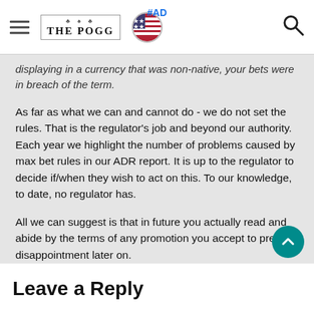THE POGG — navigation bar with hamburger menu, logo, US flag, #AD label, and search icon
displaying in a currency that was non-native, your bets were in breach of the term.
As far as what we can and cannot do - we do not set the rules. That is the regulator's job and beyond our authority. Each year we highlight the number of problems caused by max bet rules in our ADR report. It is up to the regulator to decide if/when they wish to act on this. To our knowledge, to date, no regulator has.
All we can suggest is that in future you actually read and abide by the terms of any promotion you accept to prevent disappointment later on.
ThePOGG
Leave a Reply